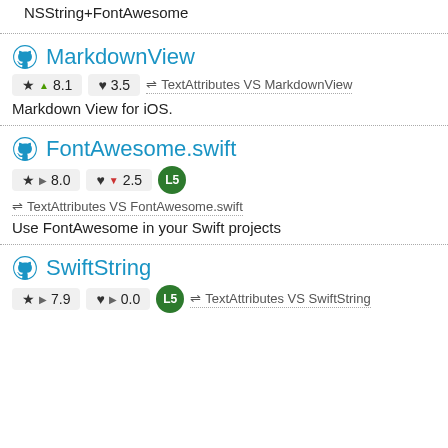NSString+FontAwesome
MarkdownView
★ ▲ 8.1   ♥ 3.5   ⇌ TextAttributes VS MarkdownView
Markdown View for iOS.
FontAwesome.swift
★ ▶ 8.0   ♥ ▼ 2.5   L5   ⇌ TextAttributes VS FontAwesome.swift
Use FontAwesome in your Swift projects
SwiftString
★ ▶ 7.9   ♥ ▶ 0.0   L5   ⇌ TextAttributes VS SwiftString